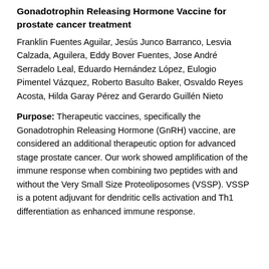Gonadotrophin Releasing Hormone Vaccine for prostate cancer treatment
Franklin Fuentes Aguilar, Jesús Junco Barranco, Lesvia Calzada, Aguilera, Eddy Bover Fuentes, Jose André Serradelo Leal, Eduardo Hernández López, Eulogio Pimentel Vázquez, Roberto Basulto Baker, Osvaldo Reyes Acosta, Hilda Garay Pérez and Gerardo Guillén Nieto
Purpose: Therapeutic vaccines, specifically the Gonadotrophin Releasing Hormone (GnRH) vaccine, are considered an additional therapeutic option for advanced stage prostate cancer. Our work showed amplification of the immune response when combining two peptides with and without the Very Small Size Proteoliposomes (VSSP). VSSP is a potent adjuvant for dendritic cells activation and Th1 differentiation as enhanced immune response.